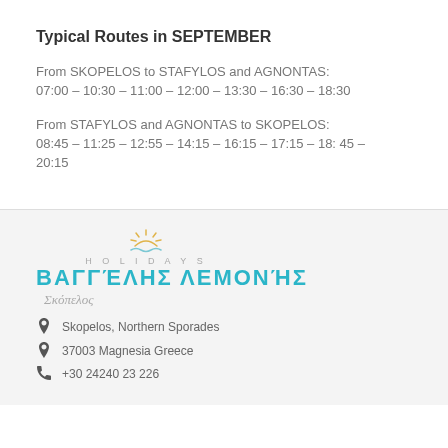Typical Routes in SEPTEMBER
From SKOPELOS to STAFYLOS and AGNONTAS:
07:00 – 10:30 – 11:00 – 12:00 – 13:30 – 16:30 – 18:30
From STAFYLOS and AGNONTAS to SKOPELOS:
08:45 – 11:25 – 12:55 – 14:15 – 16:15 – 17:15 – 18: 45 – 20:15
[Figure (logo): Vaggelis Lemonis Holidays logo with sun icon, HOLIDAYS text, Greek text ΒΑΓΓΕΛΗΣ ΛΕΜΟΝΗΣ in teal, and Skopelos in script]
Skopelos, Northern Sporades
37003 Magnesia Greece
+30 24240 23 226